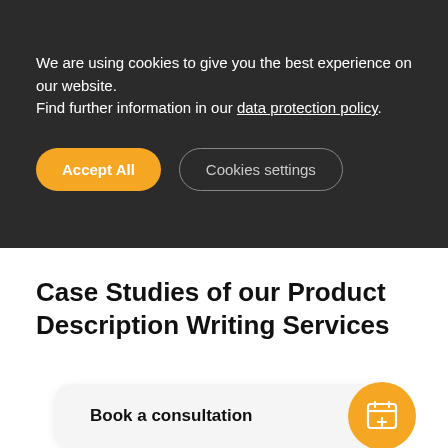We are using cookies to give you the best experience on our website.
Find further information in our data protection policy.
Accept All
Cookies settings
Case Studies of our Product Description Writing Services
Book a consultation